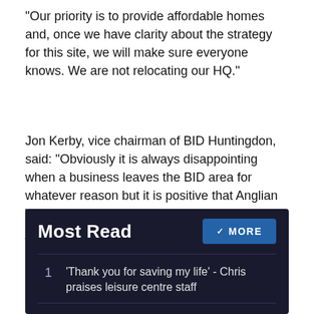“Our priority is to provide affordable homes and, once we have clarity about the strategy for this site, we will make sure everyone knows. We are not relocating our HQ.”
Jon Kerby, vice chairman of BID Huntingdon, said: “Obviously it is always disappointing when a business leaves the BID area for whatever reason but it is positive that Anglian Water is staying in Huntingdon, and saving jobs in the process. It speaks volumes about how Huntingdon is attractive for businesses.
Most Read
‘Thank you for saving my life’ - Chris praises leisure centre staff
Man and 15-year-old boy charged with theft from St Neots Waitrose